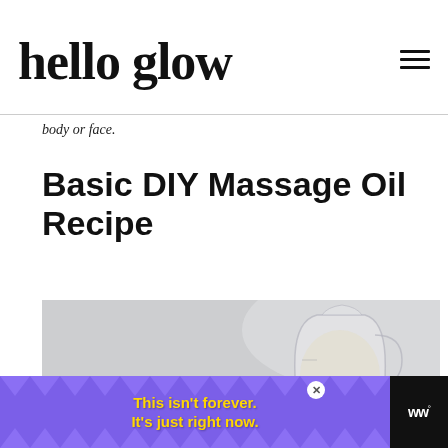hello glow
body or face.
Basic DIY Massage Oil Recipe
[Figure (photo): Photo of a glass measuring jug with oil and red berries on a light grey background]
[Figure (infographic): Purple advertisement banner reading: This isn't forever. It's just right now. With a close button and a logo on the right.]